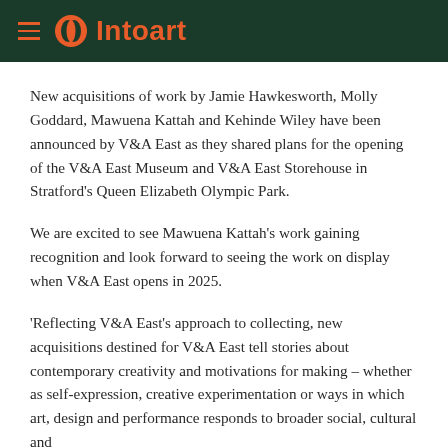Intoart
New acquisitions of work by Jamie Hawkesworth, Molly Goddard, Mawuena Kattah and Kehinde Wiley have been announced by V&A East as they shared plans for the opening of the V&A East Museum and V&A East Storehouse in Stratford's Queen Elizabeth Olympic Park.
We are excited to see Mawuena Kattah's work gaining recognition and look forward to seeing the work on display when V&A East opens in 2025.
'Reflecting V&A East's approach to collecting, new acquisitions destined for V&A East tell stories about contemporary creativity and motivations for making – whether as self-expression, creative experimentation or ways in which art, design and performance responds to broader social, cultural and